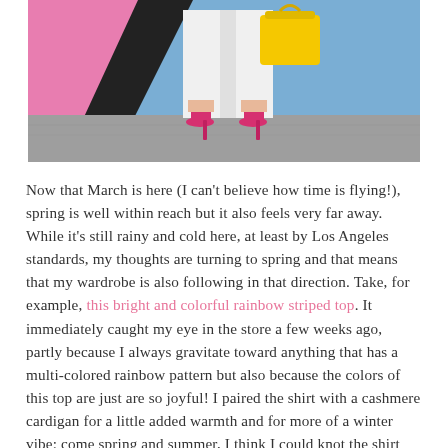[Figure (photo): Lower half of a person standing against a colorful mural wall (pink, blue, black geometric shapes). The person wears white cropped pants, hot pink high heels, and holds a bright yellow handbag. The ground is gray concrete.]
Now that March is here (I can't believe how time is flying!), spring is well within reach but it also feels very far away. While it's still rainy and cold here, at least by Los Angeles standards, my thoughts are turning to spring and that means that my wardrobe is also following in that direction. Take, for example, this bright and colorful rainbow striped top. It immediately caught my eye in the store a few weeks ago, partly because I always gravitate toward anything that has a multi-colored rainbow pattern but also because the colors of this top are just are so joyful! I paired the shirt with a cashmere cardigan for a little added warmth and for more of a winter vibe; come spring and summer, I think I could knot the shirt forgo the sweater for a